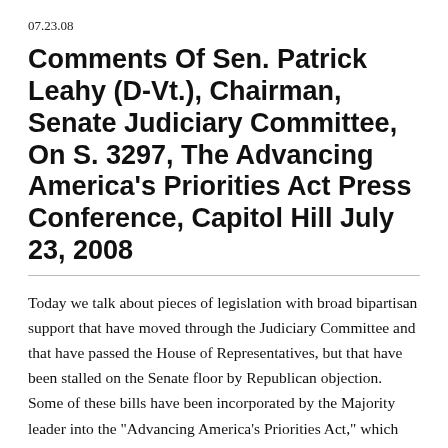07.23.08
Comments Of Sen. Patrick Leahy (D-Vt.), Chairman, Senate Judiciary Committee, On S. 3297, The Advancing America's Priorities Act Press Conference, Capitol Hill July 23, 2008
Today we talk about pieces of legislation with broad bipartisan support that have moved through the Judiciary Committee and that have passed the House of Representatives, but that have been stalled on the Senate floor by Republican objection. Some of these bills have been incorporated by the Majority leader into the "Advancing America's Priorities Act," which combines 35 bills that span across seven Senate Committees into one bill. By advancing these bills, we can begin to improve their